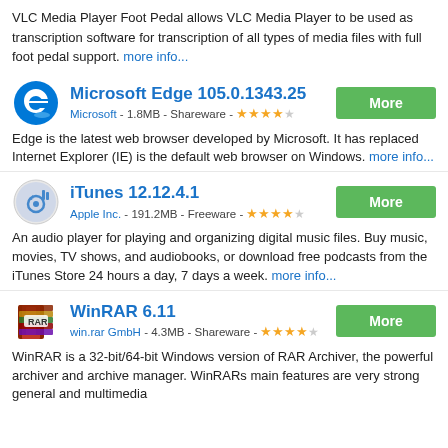VLC Media Player Foot Pedal allows VLC Media Player to be used as transcription software for transcription of all types of media files with full foot pedal support. more info...
Microsoft Edge 105.0.1343.25
Microsoft - 1.8MB - Shareware - ★★★★☆
Edge is the latest web browser developed by Microsoft. It has replaced Internet Explorer (IE) is the default web browser on Windows. more info...
iTunes 12.12.4.1
Apple Inc. - 191.2MB - Freeware - ★★★★☆
An audio player for playing and organizing digital music files. Buy music, movies, TV shows, and audiobooks, or download free podcasts from the iTunes Store 24 hours a day, 7 days a week. more info...
WinRAR 6.11
win.rar GmbH - 4.3MB - Shareware - ★★★★☆
WinRAR is a 32-bit/64-bit Windows version of RAR Archiver, the powerful archiver and archive manager. WinRARs main features are very strong general and multimedia